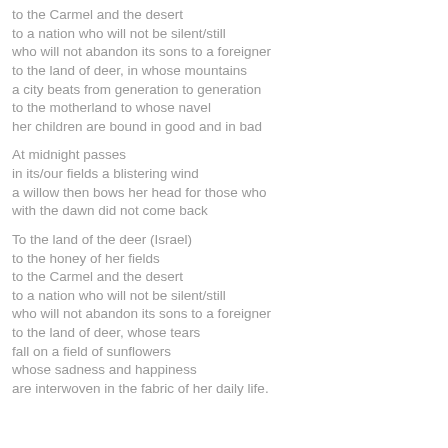to the Carmel and the desert
to a nation who will not be silent/still
who will not abandon its sons to a foreigner
to the land of deer, in whose mountains
a city beats from generation to generation
to the motherland to whose navel
her children are bound in good and in bad
At midnight passes
in its/our fields a blistering wind
a willow then bows her head for those who
with the dawn did not come back
To the land of the deer (Israel)
to the honey of her fields
to the Carmel and the desert
to a nation who will not be silent/still
who will not abandon its sons to a foreigner
to the land of deer, whose tears
fall on a field of sunflowers
whose sadness and happiness
are interwoven in the fabric of her daily life.